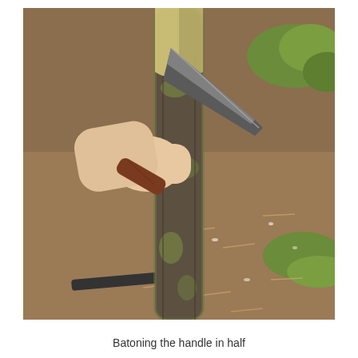[Figure (photo): A hand holding a knife against a wooden branch/stick, batoning (splitting) the handle in half. The scene shows the branch being split with the knife blade embedded in the top, outdoors on a dirt and dry grass background. Another tool is visible in the lower left background.]
Batoning the handle in half